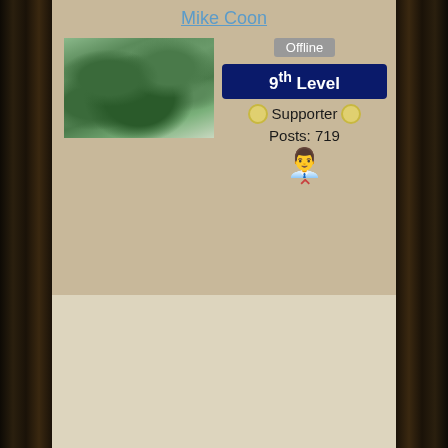Mike Coon
[Figure (photo): Outdoor landscape photo showing green brush/vegetation, possibly with an animal partially visible]
Offline
9th Level
Supporter
Posts: 719
Week 1 is in the books. I put a brief recap on the league site. Looking forward to this week and good luck to all.